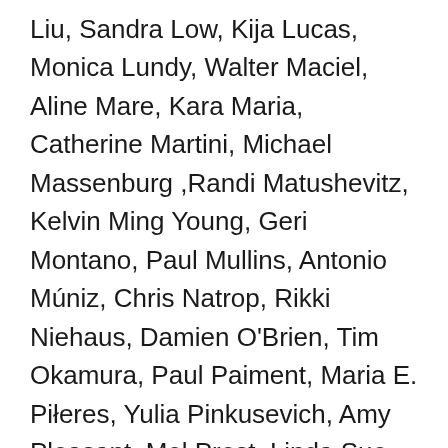Liu, Sandra Low, Kija Lucas, Monica Lundy, Walter Maciel, Aline Mare, Kara Maria, Catherine Martini, Michael Massenburg ,Randi Matushevitz, Kelvin Ming Young, Geri Montano, Paul Mullins, Antonio Múniz, Chris Natrop, Rikki Niehaus, Damien O'Brien, Tim Okamura, Paul Paiment, Maria E. Piłleres, Yulia Pinkusevich, Amy Pleasant, Mel Prest, Linda Sue Price, Calida Rawles, Kate Rhoades, Karrie Ross, Ann Marie Rousseau, Maja Ruznic, Sonja Schenk, Nike Schröder, Annie Seaton, Steve Seleska, Christine Shields, Cindy Shih, Sheli Silverio, Jessica Snow, Lisa Solomon, Tamara Stephas, Mike Street, William Swanson, Camille Taylor, Jessie Thatcher, Love Thomas, Lian